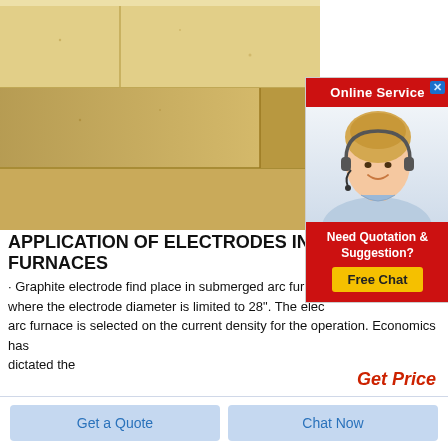[Figure (photo): Close-up photo of stacked light-colored refractory bricks or ceramic blocks with smooth surfaces and visible seams]
[Figure (infographic): Online service advertisement popup with red header reading 'Online Service', image of a smiling woman with headset, and a red CTA section saying 'Need Quotation & Suggestion?' with a yellow 'Free Chat' button]
APPLICATION OF ELECTRODES IN FURNACES
· Graphite electrode find place in submerged arc furnaces where the electrode diameter is limited to 28". The electrode for an arc furnace is selected on the current density for the operation. Economics has dictated the
Get Price
Get a Quote
Chat Now